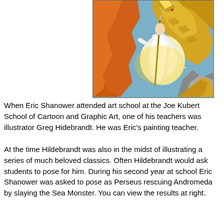[Figure (illustration): A dramatic fantasy illustration showing a figure in white robes wielding a staff confronting a large golden sea dragon/serpent. The scene is set against fiery red and orange rocky cliffs with bright light emanating from the center. This depicts Perseus and the Sea Monster.]
When Eric Shanower attended art school at the Joe Kubert School of Cartoon and Graphic Art, one of his teachers was illustrator Greg Hidebrandt. He was Eric's painting teacher.
At the time Hildebrandt was also in the midst of illustrating a series of much beloved classics. Often Hildebrandt would ask students to pose for him. During his second year at school Eric Shanower was asked to pose as Perseus rescuing Andromeda by slaying the Sea Monster. You can view the results at right.